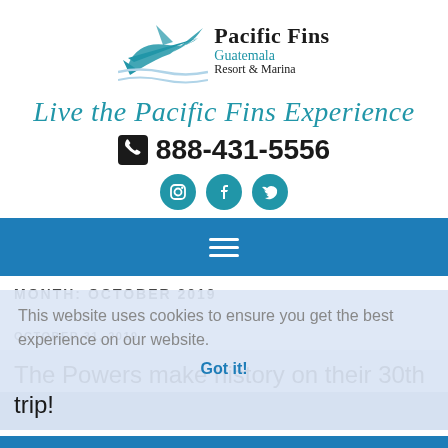[Figure (logo): Pacific Fins Guatemala Resort & Marina logo with swordfish illustration]
Live the Pacific Fins Experience
📞 888-431-5556
[Figure (illustration): Social media icons: Instagram, Facebook, Twitter in teal circles]
[Figure (illustration): Navigation hamburger menu icon on blue bar]
MONTH: OCTOBER 2019
This website uses cookies to ensure you get the best experience on our website.
Got it!
OCTOBER 31, 2019
The Powers make history on their 30th trip!